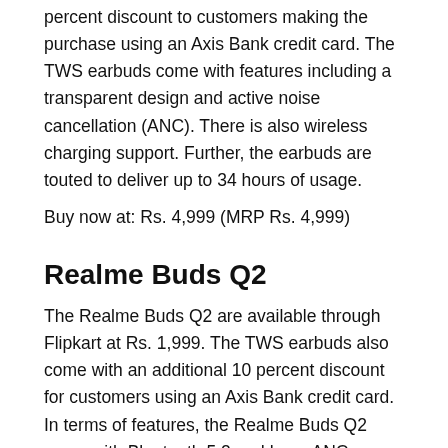percent discount to customers making the purchase using an Axis Bank credit card. The TWS earbuds come with features including a transparent design and active noise cancellation (ANC). There is also wireless charging support. Further, the earbuds are touted to deliver up to 34 hours of usage.
Buy now at: Rs. 4,999 (MRP Rs. 4,999)
Realme Buds Q2
The Realme Buds Q2 are available through Flipkart at Rs. 1,999. The TWS earbuds also come with an additional 10 percent discount for customers using an Axis Bank credit card. In terms of features, the Realme Buds Q2 come with Bluetooth 5.2 and have ANC support. The earbuds also include an IPX5 water-resistant build and have 88ms latency. The Realme Buds Q2 come with up to 28 hours of battery life.